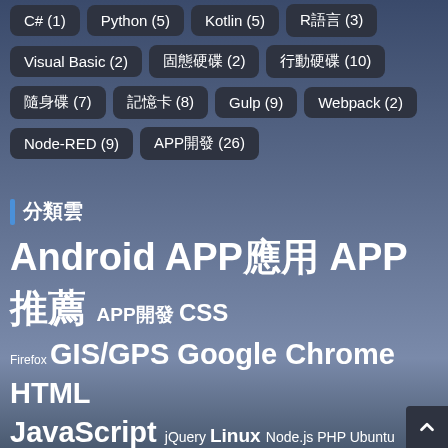C# (1)
Python (5)
Kotlin (5)
R語言 (3)
Visual Basic (2)
固態硬碟 (2)
行動硬碟 (10)
隨身碟 (7)
記憶卡 (8)
Gulp (9)
Webpack (2)
Node-RED (9)
APP開發 (26)
分類雲
Android APP應用 APP推薦 APP開發 CSS Firefox GIS/GPS Google Chrome HTML JavaScript jQuery Linux Node.js PHP Ubuntu Windows 世界地理 串流媒體 伺服器 作業系統 儲存裝置 多媒體 學業筆記 影片編輯 擴充元件 架站程式 瀏覽器 生活用品 生活相關 硬體週邊 程式設計 網站技術 網路應用 行動平